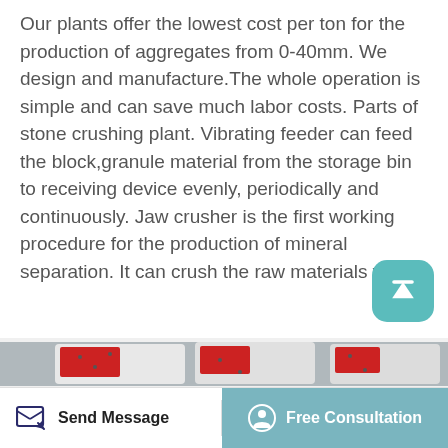Our plants offer the lowest cost per ton for the production of aggregates from 0-40mm. We design and manufacture.The whole operation is simple and can save much labor costs. Parts of stone crushing plant. Vibrating feeder can feed the block,granule material from the storage bin to receiving device evenly, periodically and continuously. Jaw crusher is the first working procedure for the production of mineral separation. It can crush the raw materials wit
[Figure (photo): Industrial stone crushing/jaw crusher machine with red and white painted exterior, showing multiple large crusher units side by side in a factory or warehouse setting.]
Send Message | Free Consultation